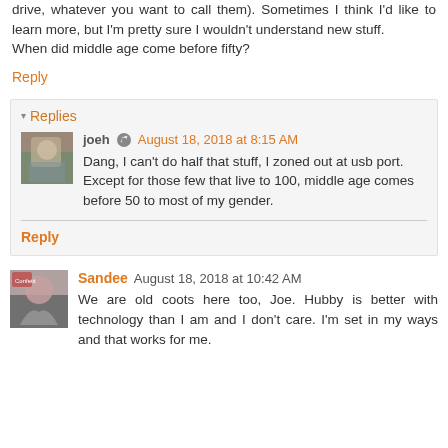drive, whatever you want to call them). Sometimes I think I'd like to learn more, but I'm pretty sure I wouldn't understand new stuff.
When did middle age come before fifty?
Reply
Replies
joeh  August 18, 2018 at 8:15 AM
Dang, I can't do half that stuff, I zoned out at usb port. Except for those few that live to 100, middle age comes before 50 to most of my gender.
Reply
Sandee  August 18, 2018 at 10:42 AM
We are old coots here too, Joe. Hubby is better with technology than I am and I don't care. I'm set in my ways and that works for me.